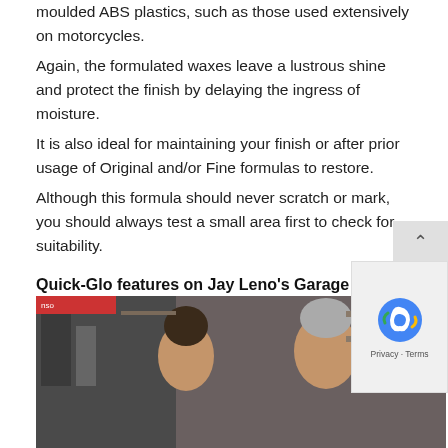moulded ABS plastics, such as those used extensively on motorcycles.
Again, the formulated waxes leave a lustrous shine and protect the finish by delaying the ingress of moisture.
It is also ideal for maintaining your finish or after prior usage of Original and/or Fine formulas to restore.
Although this formula should never scratch or mark, you should always test a small area first to check for suitability.
Quick-Glo features on Jay Leno's Garage
Petrolhead Jay Leno was so impressed with Quick-Glo that it was featured in an episode of his 'Jay Leno's Garage' TV show.
These 'featurettes' are used to showcase products that he likes and uses on his vast collection of cars and motorcycles.
[Figure (photo): Photo of two people in a garage setting, one with grey hair, likely Jay Leno with another person]